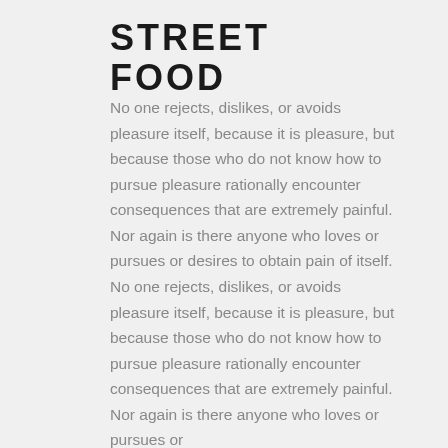STREET FOOD
No one rejects, dislikes, or avoids pleasure itself, because it is pleasure, but because those who do not know how to pursue pleasure rationally encounter consequences that are extremely painful. Nor again is there anyone who loves or pursues or desires to obtain pain of itself. No one rejects, dislikes, or avoids pleasure itself, because it is pleasure, but because those who do not know how to pursue pleasure rationally encounter consequences that are extremely painful. Nor again is there anyone who loves or pursues or